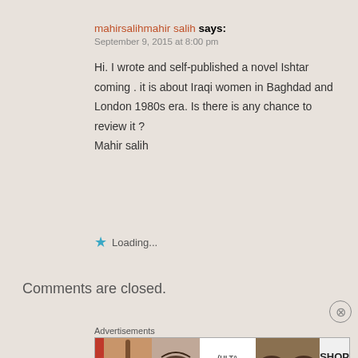mahirsalihmahir salih says: September 9, 2015 at 8:00 pm
Hi. I wrote and self-published a novel Ishtar coming . it is about Iraqi women in Baghdad and London 1980s era. Is there is any chance to review it ?
Mahir salih
Loading...
Comments are closed.
Advertisements
[Figure (photo): Advertisement banner showing cosmetics/beauty products including lipstick, makeup brush, eye makeup, ULTA Beauty logo, and SHOP NOW text]